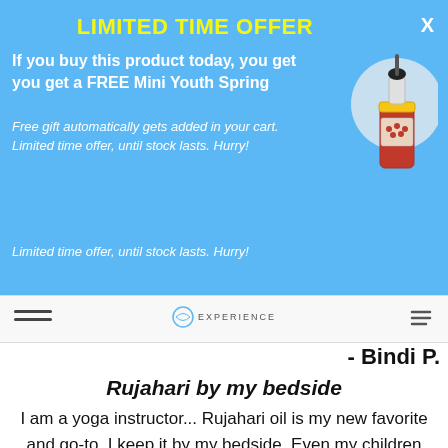LIMITED TIME OFFER
If you buy this product today, you get you get a FREE Mini Youth Spring
Free gift automatically gets added in your cart. Limited time offer, until stock lasts. Hurry!
[Figure (photo): Small bottle of Rujahari oil product with dropper cap and yellow label]
Limited time offer, until stock lasts. Hurry!
- Bindi P.
Rujahari by my bedside
I am a yoga instructor... Rujahari oil is my new favorite and go-to. I keep it by my bedside. Even my children who undertake martial arts and often sustain muscular stress, resort to mom's favorite Rujahari massage... My absolute